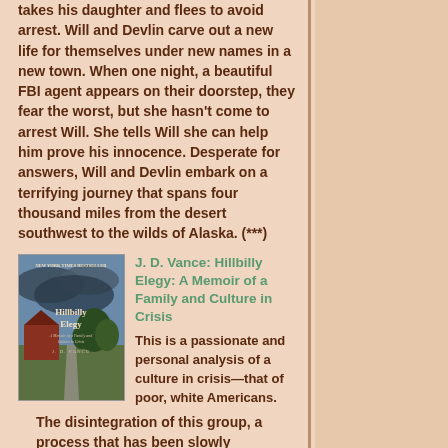takes his daughter and flees to avoid arrest. Will and Devlin carve out a new life for themselves under new names in a new town. When one night, a beautiful FBI agent appears on their doorstep, they fear the worst, but she hasn't come to arrest Will. She tells Will she can help him prove his innocence. Desperate for answers, Will and Devlin embark on a terrifying journey that spans four thousand miles from the desert southwest to the wilds of Alaska. (***)
J. D. Vance: Hillbilly Elegy: A Memoir of a Family and Culture in Crisis
This is a passionate and personal analysis of a culture in crisis—that of poor, white Americans. The disintegration of this group, a process that has been slowly occurring now for over forty years, has been